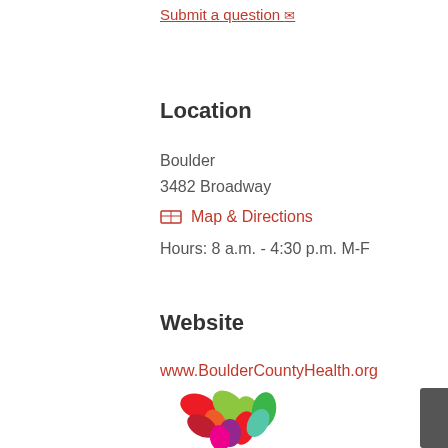Submit a question →
Location
Boulder
3482 Broadway
🗺 Map & Directions
Hours: 8 a.m. - 4:30 p.m. M-F
Website
www.BoulderCountyHealth.org